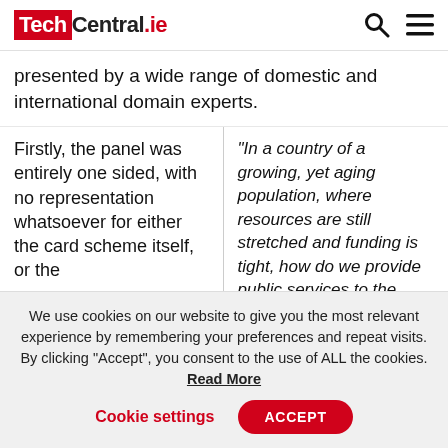TechCentral.ie
presented by a wide range of domestic and international domain experts.
Firstly, the panel was entirely one sided, with no representation whatsoever for either the card scheme itself, or the
“In a country of a growing, yet aging population, where resources are still stretched and funding is tight, how do we provide public services to the citizenry where as much as possible is done
We use cookies on our website to give you the most relevant experience by remembering your preferences and repeat visits. By clicking “Accept”, you consent to the use of ALL the cookies. Read More
Cookie settings   ACCEPT